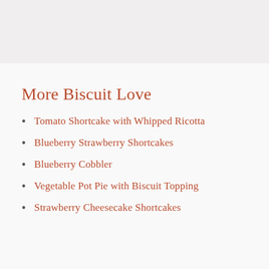[Figure (photo): Top image area, appears to be a food/biscuit photo, partially visible at top of page]
More Biscuit Love
Tomato Shortcake with Whipped Ricotta
Blueberry Strawberry Shortcakes
Blueberry Cobbler
Vegetable Pot Pie with Biscuit Topping
Strawberry Cheesecake Shortcakes